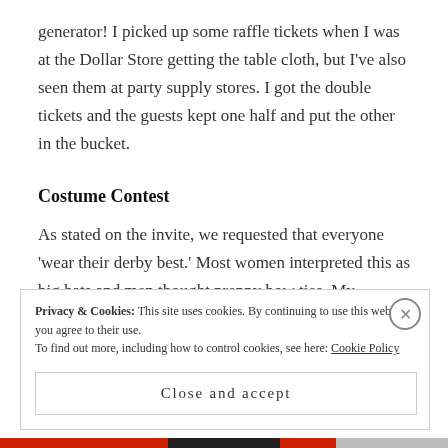generator!  I picked up some raffle tickets when I was at the Dollar Store getting the table cloth, but I've also seen them at party supply stores.  I got the double tickets and the guests kept one half and put the other in the bucket.
Costume Contest
As stated on the invite, we requested that everyone 'wear their derby best.'  Most women interpreted this as big hats and men thought preppy bow ties.  My husband, who is always an original, decided to dress
Privacy & Cookies: This site uses cookies. By continuing to use this website, you agree to their use.
To find out more, including how to control cookies, see here: Cookie Policy
Close and accept